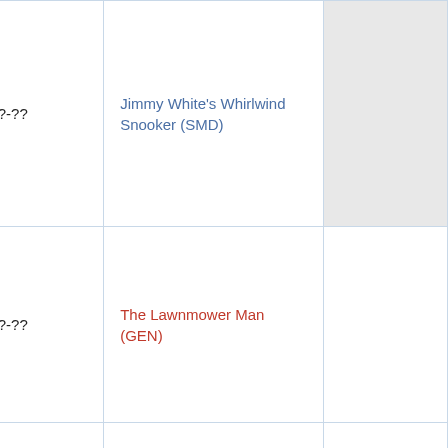| Date | Title |  |
| --- | --- | --- |
| 1994-??-?? | Jimmy White's Whirlwind Snooker (SMD) |  |
| 1994-??-?? | The Lawnmower Man (GEN) |  |
| 1994-??-?? | The Lion King (AMI) |  |
| 1994-??-?? | Mortal Kombat II (AMI) |  |
| 1994-??-?? | Spider-Man and the X-Men in Arcade's Revenge (GG) |  |
| 1994-??-?? | Tinhead (SNES) |  |